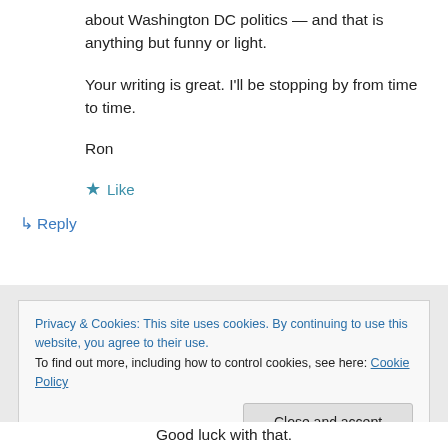about Washington DC politics — and that is anything but funny or light.
Your writing is great. I'll be stopping by from time to time.
Ron
★ Like
↳ Reply
Privacy & Cookies: This site uses cookies. By continuing to use this website, you agree to their use.
To find out more, including how to control cookies, see here: Cookie Policy
Close and accept
Good luck with that.